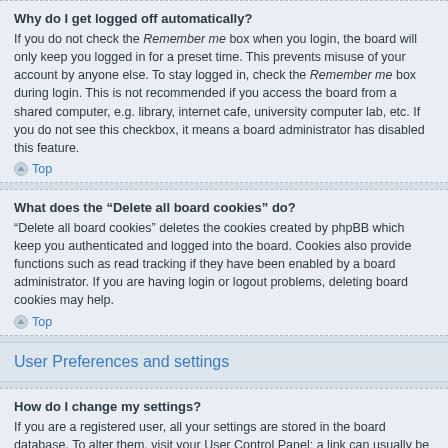Why do I get logged off automatically?
If you do not check the Remember me box when you login, the board will only keep you logged in for a preset time. This prevents misuse of your account by anyone else. To stay logged in, check the Remember me box during login. This is not recommended if you access the board from a shared computer, e.g. library, internet cafe, university computer lab, etc. If you do not see this checkbox, it means a board administrator has disabled this feature.
Top
What does the “Delete all board cookies” do?
“Delete all board cookies” deletes the cookies created by phpBB which keep you authenticated and logged into the board. Cookies also provide functions such as read tracking if they have been enabled by a board administrator. If you are having login or logout problems, deleting board cookies may help.
Top
User Preferences and settings
How do I change my settings?
If you are a registered user, all your settings are stored in the board database. To alter them, visit your User Control Panel; a link can usually be found by clicking on your username at the top of board pages. This system will allow you to change all your settings and preferences.
Top